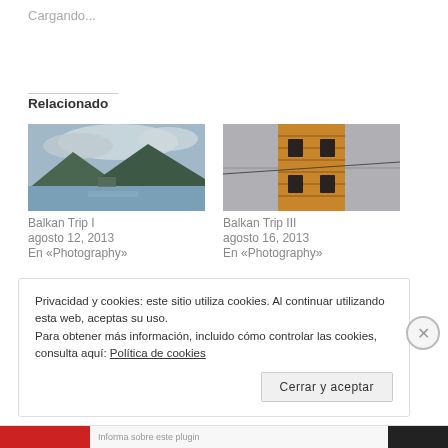Cargando...
Relacionado
[Figure (photo): Landscape photo showing a lake with mountains and clouds – Balkan Trip I]
Balkan Trip I
agosto 12, 2013
En «Photography»
[Figure (photo): Close-up photo of a wooden tower structure against a grey wall – Balkan Trip III]
Balkan Trip III
agosto 16, 2013
En «Photography»
Privacidad y cookies: este sitio utiliza cookies. Al continuar utilizando esta web, aceptas su uso.
Para obtener más información, incluido cómo controlar las cookies, consulta aquí: Política de cookies
Cerrar y aceptar